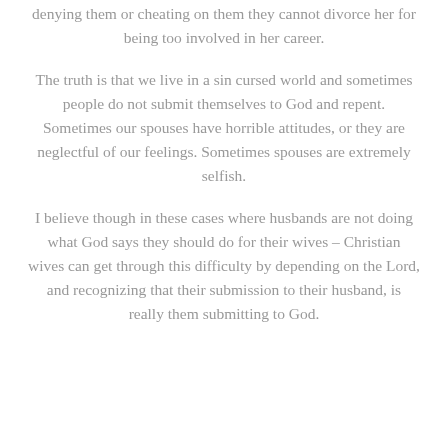denying them or cheating on them they cannot divorce her for being too involved in her career.
The truth is that we live in a sin cursed world and sometimes people do not submit themselves to God and repent. Sometimes our spouses have horrible attitudes, or they are neglectful of our feelings. Sometimes spouses are extremely selfish.
I believe though in these cases where husbands are not doing what God says they should do for their wives – Christian wives can get through this difficulty by depending on the Lord, and recognizing that their submission to their husband, is really them submitting to God.